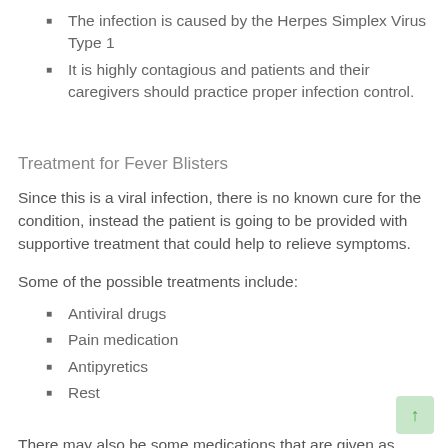The infection is caused by the Herpes Simplex Virus Type 1
It is highly contagious and patients and their caregivers should practice proper infection control.
Treatment for Fever Blisters
Since this is a viral infection, there is no known cure for the condition, instead the patient is going to be provided with supportive treatment that could help to relieve symptoms.
Some of the possible treatments include:
Antiviral drugs
Pain medication
Antipyretics
Rest
There may also be some medications that are given as autoimmune system boosters to help the body fight off the